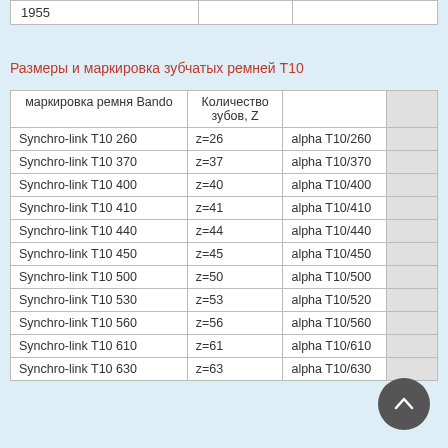|  |  |  |
| --- | --- | --- |
| 1955 |  |  |
Размеры и маркировка зубчатых ремней T10
| маркировка ремня Bando | Количество зубов, Z |  |  |
| --- | --- | --- | --- |
| Synchro-link T10 260 | z=26 | alpha T10/260 |  |
| Synchro-link T10 370 | z=37 | alpha T10/370 |  |
| Synchro-link T10 400 | z=40 | alpha T10/400 |  |
| Synchro-link T10 410 | z=41 | alpha T10/410 |  |
| Synchro-link T10 440 | z=44 | alpha T10/440 |  |
| Synchro-link T10 450 | z=45 | alpha T10/450 |  |
| Synchro-link T10 500 | z=50 | alpha T10/500 |  |
| Synchro-link T10 530 | z=53 | alpha T10/520 |  |
| Synchro-link T10 560 | z=56 | alpha T10/560 |  |
| Synchro-link T10 610 | z=61 | alpha T10/610 |  |
| Synchro-link T10 630 | z=63 | alpha T10/630 |  |